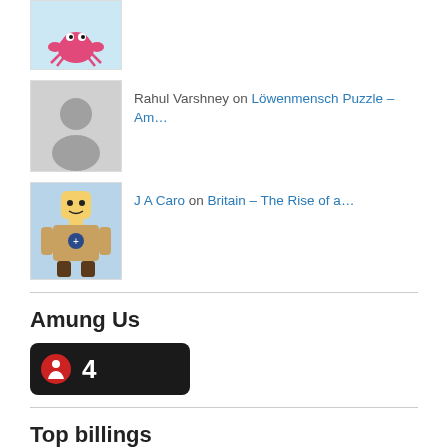[Figure (photo): Avatar image of a pink cartoon crab character]
Rahul Varshney on Löwenmensch Puzzle – Am…
[Figure (photo): Gray silhouette placeholder avatar]
[Figure (photo): Avatar image of J A Caro, a Lego-style figure]
J A Caro on Britain – The Rise of a…
Amung Us
[Figure (other): Amung Us widget showing count of 4 visitors, dark rounded rectangle with accessibility icon and number 4]
Top billings
Posts | Pages | Comments
All | Today | This Week | This Month
India Imports Hazardous Waste